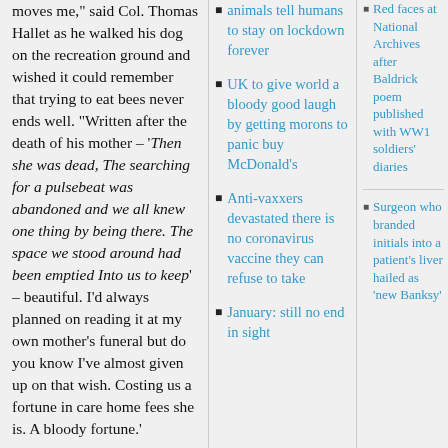moves me," said Col. Thomas Hallet as he walked his dog on the recreation ground and wished it could remember that trying to eat bees never ends well. "Written after the death of his mother – 'Then she was dead, The searching for a pulsebeat was abandoned and we all knew one thing by being there. The space we stood around had been emptied Into us to keep' – beautiful. I'd always planned on reading it at my own mother's funeral but do you know I've almost given up on that wish. Costing us a fortune in care home fees she is. A bloody fortune.'
"We did him in English last year."
animals tell humans to stay on lockdown forever
UK to give world a bloody good laugh by getting morons to panic buy McDonald's
Anti-vaxxers devastated there is no coronavirus vaccine they can refuse to take
January: still no end in sight
Red faces at National Archives after Baldrick poem published with WW1 soldiers' diaries
Surgeon who branded initials into a patient's liver hailed as 'new Banksy'